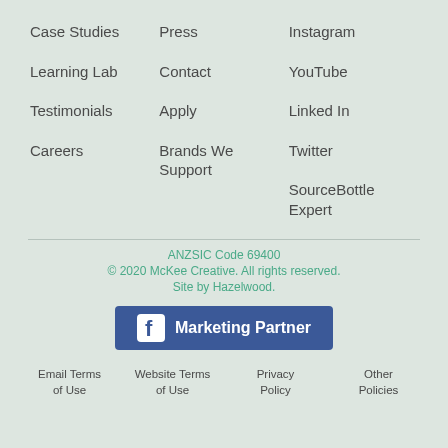Case Studies
Press
Instagram
Learning Lab
Contact
YouTube
Testimonials
Apply
Linked In
Careers
Brands We Support
Twitter
SourceBottle Expert
ANZSIC Code 69400
© 2020 McKee Creative. All rights reserved.
Site by Hazelwood.
[Figure (logo): Facebook Marketing Partner badge — blue rectangle with Facebook 'f' logo and text 'Marketing Partner' in white]
Email Terms of Use
Website Terms of Use
Privacy Policy
Other Policies